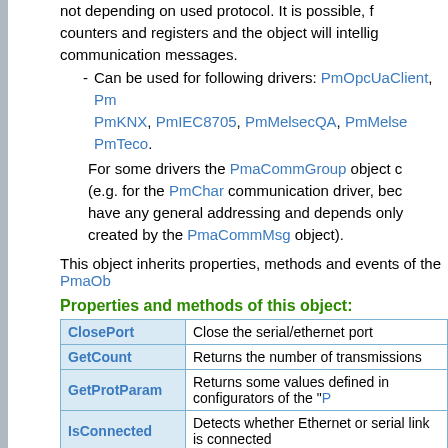not depending on used protocol. It is possible, f counters and registers and the object will intellig communication messages.
- Can be used for following drivers: PmOpcUaClient, Pm PmKNX, PmIEC8705, PmMelsecQA, PmMelse PmTeco.
For some drivers the PmaCommGroup object c (e.g. for the PmChar communication driver, bec have any general addressing and depends only created by the PmaCommMsg object).
This object inherits properties, methods and events of the PmaOb
Properties and methods of this object:
| Property | Description |
| --- | --- |
| ClosePort | Close the serial/ethernet port |
| GetCount | Returns the number of transmissions |
| GetProtParam | Returns some values defined in configurators of the "P |
| IsConnected | Detects whether Ethernet or serial link is connected |
| OpenPort | Open the serial/ethernet port |
| SetProtParam | Sets values in some configurators of the "PmaComm > |
Properties only for serial link:
| Property | Description |
| --- | --- |
| BaudRate | The baud rate of the serial link |